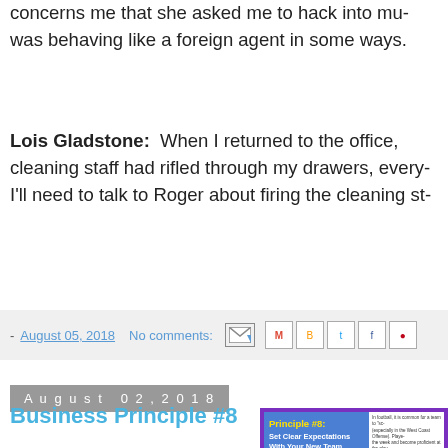concerns me that she asked me to hack into mu... was behaving like a foreign agent in some ways.
Lois Gladstone: When I returned to the office, cleaning staff had rifled through my drawers, every... I'll need to talk to Roger about firing the cleaning st...
- August 05, 2018   No comments:
August 02, 2018
Business Principle #8
[Figure (infographic): Infographic for Business Principle #8: Set Clear Expectations With Your New Team From The First Minute, with blue background on left and text on right.]